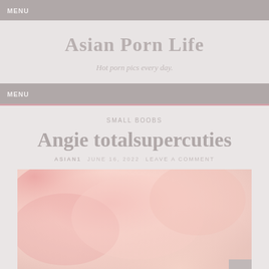MENU
Asian Porn Life
Hot porn pics every day.
MENU
SMALL BOOBS
Angie totalsupercuties
ASIAN1   JUNE 16, 2022   LEAVE A COMMENT
[Figure (photo): Close-up photograph with pink and skin-tone colors, blurred/abstract.]